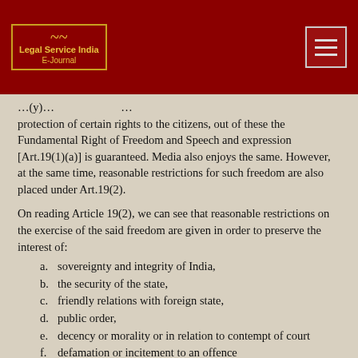Legal Service India E-Journal
protection of certain rights to the citizens, out of these the Fundamental Right of Freedom and Speech and expression [Art.19(1)(a)] is guaranteed. Media also enjoys the same. However, at the same time, reasonable restrictions for such freedom are also placed under Art.19(2).
On reading Article 19(2), we can see that reasonable restrictions on the exercise of the said freedom are given in order to preserve the interest of:
a. sovereignty and integrity of India,
b. the security of the state,
c. friendly relations with foreign state,
d. public order,
e. decency or morality or in relation to contempt of court
f. defamation or incitement to an offence
Clearly, the media, by initiating an unauthorised trial, firstly,